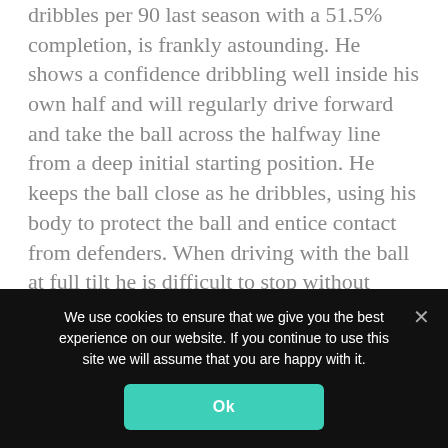dribbles per 90 last season with a 51.5% completion, is frankly astounding. He shows a confidence dribbling well inside his own half and will regularly drive forward and take the ball across the halfway line from a deep initial starting position. He keeps the ball close as he dribbles, using his body to protect the ball and entice contact from defenders. When driving with the ball at full tilt he is difficult to stop without giving a foul away.
His acceleration and deceleration on the ball is of a high level, and he breaks away from one defender before slowing down to draw the next
We use cookies to ensure that we give you the best experience on our website. If you continue to use this site we will assume that you are happy with it.